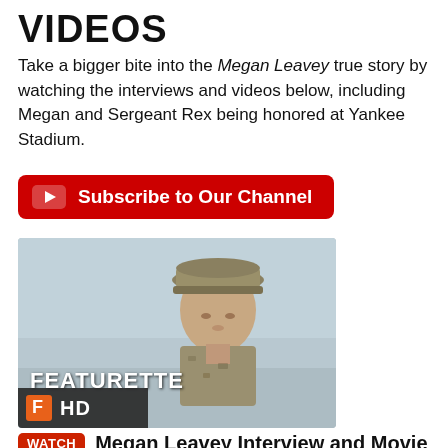VIDEOS
Take a bigger bite into the Megan Leavey true story by watching the interviews and videos below, including Megan and Sergeant Rex being honored at Yankee Stadium.
[Figure (other): Red Subscribe to Our Channel button with YouTube play icon]
[Figure (photo): Video thumbnail showing a woman in military uniform and cap with FEATURETTE label and Fandango HD badge]
WATCH Megan Leavey Interview and Movie